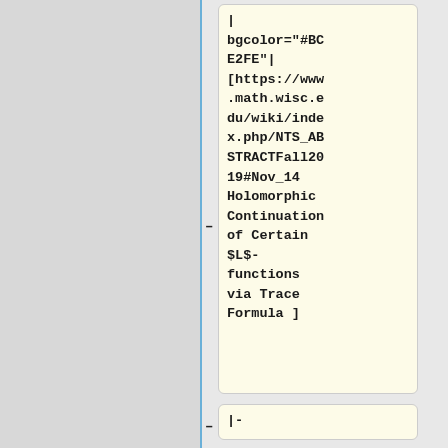| bgcolor="#BCE2FE"| [https://www.math.wisc.edu/wiki/index.php/NTS_ABSTRACTFall2019#Nov_14 Holomorphic Continuation of Certain $L$-functions via Trace Formula ]
|-
| bgcolor="#E0E0E0"